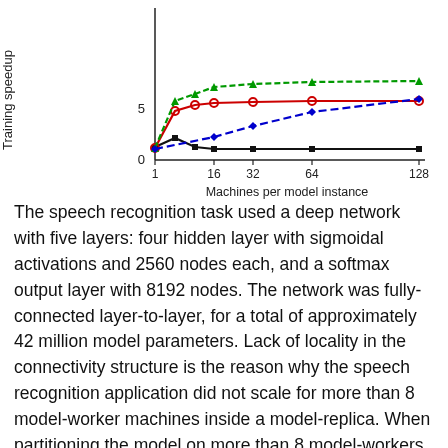[Figure (continuous-plot): Line chart showing Training speedup vs Machines per model instance. X-axis: 1, 16, 32, 64, 128. Y-axis: 0 to ~7+. Four lines: black (flat ~1), red (rises then flattens ~5-6), green (rises steeply then flattens ~7+), blue dashed (rises steadily ~6 at 128).]
The speech recognition task used a deep network with five layers: four hidden layer with sigmoidal activations and 2560 nodes each, and a softmax output layer with 8192 nodes. The network was fully-connected layer-to-layer, for a total of approximately 42 million model parameters. Lack of locality in the connectivity structure is the reason why the speech recognition application did not scale for more than 8 model-worker machines inside a model-replica. When partitioning the model on more than 8 model-workers, the network overhead starts to dominate in the fully-connected network structure and there is less work for each